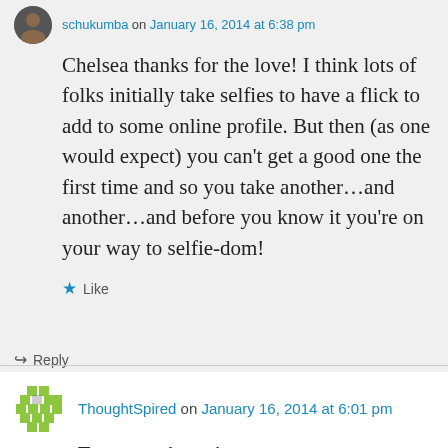schukumba on January 16, 2014 at 6:38 pm
Chelsea thanks for the love! I think lots of folks initially take selfies to have a flick to add to some online profile. But then (as one would expect) you can’t get a good one the first time and so you take another…and another…and before you know it you’re on your way to selfie-dom!
Like
Reply
ThoughtSpired on January 16, 2014 at 6:01 pm
True story, bravo!
Like